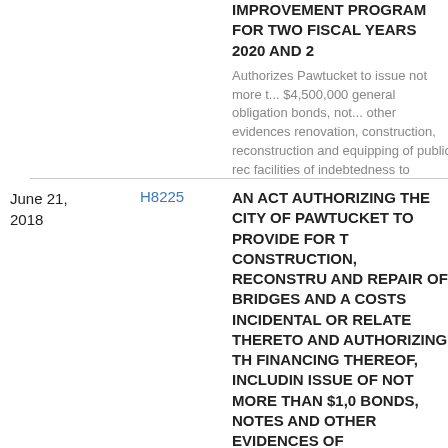IMPROVEMENT PROGRAM FOR TWO FISCAL YEARS 2020 AND 2...
Authorizes Pawtucket to issue not more than $4,500,000 general obligation bonds, notes, other evidences renovation, construction, reconstruction and equipping of public rec facilities of indebtedness to finance and a related thereto.
June 21, 2018
H8225
AN ACT AUTHORIZING THE CITY OF PAWTUCKET TO PROVIDE FOR THE CONSTRUCTION, RECONSTRUCTION AND REPAIR OF BRIDGES AND ALL COSTS INCIDENTAL OR RELATED THERETO AND AUTHORIZING THE FINANCING THEREOF, INCLUDING ISSUE OF NOT MORE THAN $1,0... BONDS, NOTES AND OTHER EVIDENCES OF INDEBTEDNESS THEREFOR, TO FUND THE CAPIT...